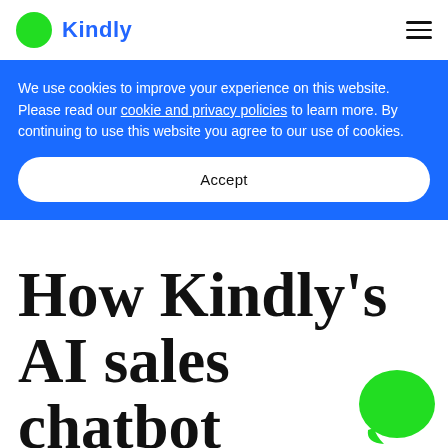Kindly
We use cookies to improve your experience on this website. Please read our cookie and privacy policies to learn more. By continuing to use this website you agree to our use of cookies.
Accept
How Kindly's AI sales chatbot